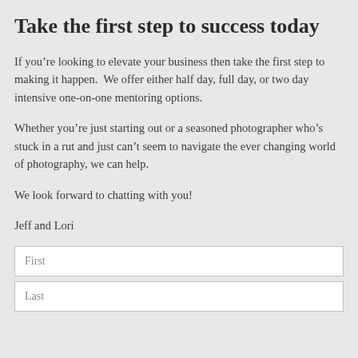Take the first step to success today
If you’re looking to elevate your business then take the first step to making it happen.  We offer either half day, full day, or two day intensive one-on-one mentoring options.
Whether you’re just starting out or a seasoned photographer who’s stuck in a rut and just can’t seem to navigate the ever changing world of photography, we can help.
We look forward to chatting with you!
Jeff and Lori
First
Last